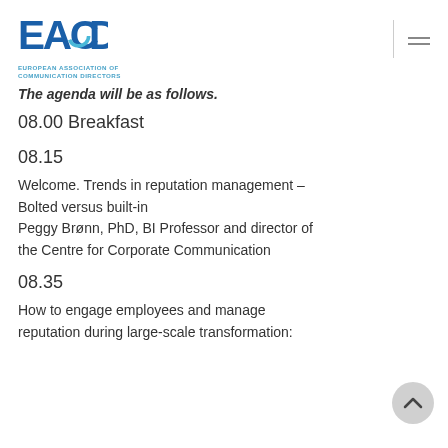EACD — EUROPEAN ASSOCIATION OF COMMUNICATION DIRECTORS
The agenda will be as follows.
08.00 Breakfast
08.15
Welcome. Trends in reputation management – Bolted versus built-in
Peggy Brønn, PhD, BI Professor and director of the Centre for Corporate Communication
08.35
How to engage employees and manage reputation during large-scale transformation: